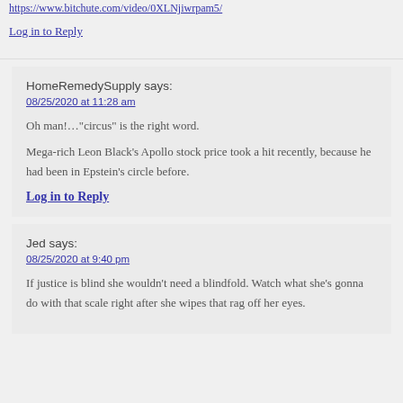https://www.bitchute.com/video/0XLNjiwrpam5/
Log in to Reply
HomeRemedySupply says:
08/25/2020 at 11:28 am
Oh man!…"circus" is the right word.
Mega-rich Leon Black's Apollo stock price took a hit recently, because he had been in Epstein's circle before.
Log in to Reply
Jed says:
08/25/2020 at 9:40 pm
If justice is blind she wouldn't need a blindfold. Watch what she's gonna do with that scale right after she wipes that rag off her eyes.